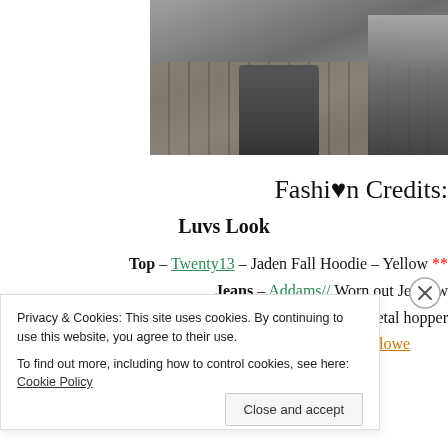[Figure (photo): Partial photo showing stone cobblestone ground with a dark pillar/pedestal and a figure in jeans on the right edge, cropped at top of page]
Fashion Credits:
Luvs Look
Top – Twenty13 – Jaden Fall Hoodie – Yellow **
Jeans – Addams// Worn out Jeans w
Shoes – *REIGN – petal hopper
Hair – Twenty13. – Taryn Hair – Carmel *RARE* @ Hallowe
Post it – Twenty13. Post-It-Note – blue – Happy Hallow
Privacy & Cookies: This site uses cookies. By continuing to use this website, you agree to their use.
To find out more, including how to control cookies, see here: Cookie Policy
Close and accept